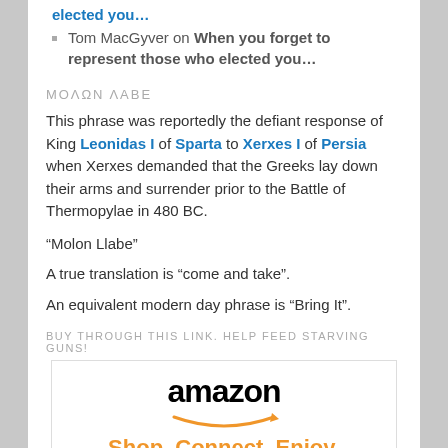elected you…
Tom MacGyver on When you forget to represent those who elected you…
ΜΟΛΩΝ ΛΑΒΕ
This phrase was reportedly the defiant response of King Leonidas I of Sparta to Xerxes I of Persia when Xerxes demanded that the Greeks lay down their arms and surrender prior to the Battle of Thermopylae in 480 BC.
“Molon Llabe”
A true translation is “come and take”.
An equivalent modern day phrase is “Bring It”.
BUY THROUGH THIS LINK. HELP FEED STARVING GUNS!
[Figure (logo): Amazon logo with tagline Shop. Connect. Enjoy.]